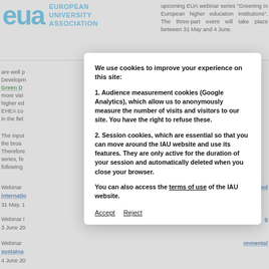[Figure (logo): EUA European University Association logo with blue stylized 'eua' letters and text]
upcoming EUA webinar series "Greening in European higher education institutions". The three-part event will take place between 31 May and 4 June.
Higher education institutions are well p... ustainable Development... European Green D... tainability more visi... eening in higher ed... cross the EHEA co... l activities in the fiel...
The input... es and to the broa... ant topic. Therefore... s webinar series, fe... s on the following...
Webinar ... ility and internatio... 31 May, 1...
Webinar ... g 3 June 20...
Webinar ... onmental sustaina... 4 June 20...
We use cookies to improve your experience on this site:

1. Audience measurement cookies (Google Analytics), which allow us to anonymously measure the number of visits and visitors to our site. You have the right to refuse these.

2. Session cookies, which are essential so that you can move around the IAU website and use its features. They are only active for the duration of your session and automatically deleted when you close your browser.

You can also access the terms of use of the IAU website.

Accept   Reject